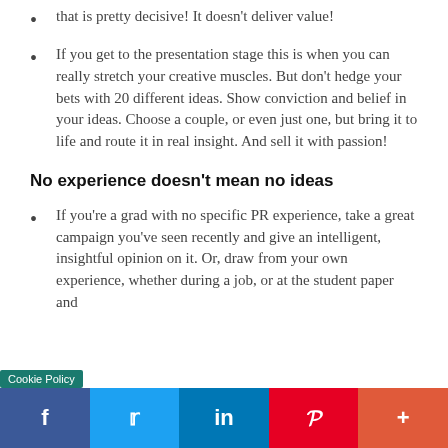…that is pretty decisive! It doesn't deliver value!
If you get to the presentation stage this is when you can really stretch your creative muscles. But don't hedge your bets with 20 different ideas. Show conviction and belief in your ideas. Choose a couple, or even just one, but bring it to life and route it in real insight. And sell it with passion!
No experience doesn't mean no ideas
If you're a grad with no specific PR experience, take a great campaign you've seen recently and give an intelligent, insightful opinion on it. Or, draw from your own experience, whether during a job, or at the student paper and…